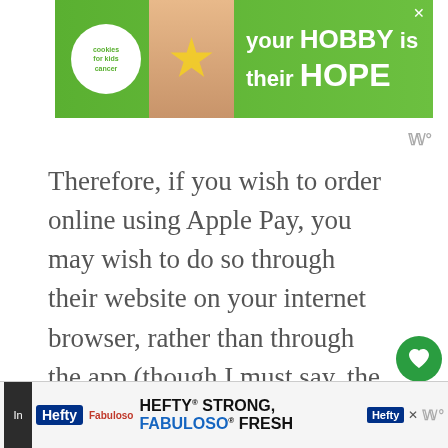[Figure (screenshot): Advertisement banner: cookies for kids cancer - your HOBBY is their HOPE, green background with logo and hand holding heart]
Therefore, if you wish to order online using Apple Pay, you may wish to do so through their website on your internet browser, rather than through the app (though I must say, the app is very well designed despite a few bugs I encountered during testing.)
What Other Payment Methods Does Taco Bell Accept?
[Figure (screenshot): WHAT'S NEXT arrow - Does Michaels Accept Appl... with thumbnail]
[Figure (screenshot): Bottom advertisement: Hefty STRONG, Fabuloso FRESH]